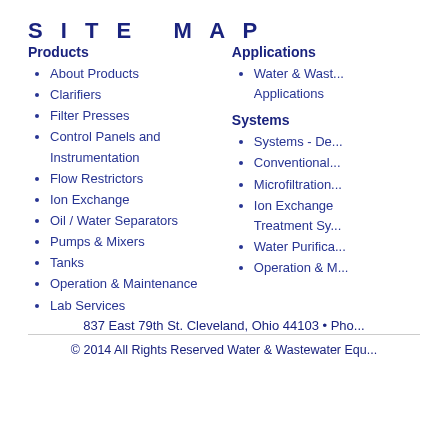SITE MAP
Products
About Products
Clarifiers
Filter Presses
Control Panels and Instrumentation
Flow Restrictors
Ion Exchange
Oil / Water Separators
Pumps & Mixers
Tanks
Operation & Maintenance
Lab Services
Applications
Water & Wastewater Applications
Systems
Systems - De...
Conventional...
Microfiltration...
Ion Exchange Treatment Sy...
Water Purifica...
Operation & M...
837 East 79th St. Cleveland, Ohio 44103 • Pho...
© 2014 All Rights Reserved Water & Wastewater Equ...